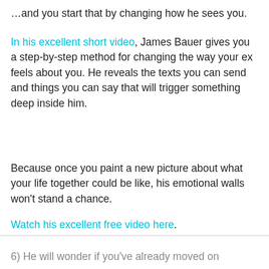…and you start that by changing how he sees you.
In his excellent short video, James Bauer gives you a step-by-step method for changing the way your ex feels about you. He reveals the texts you can send and things you can say that will trigger something deep inside him.
Because once you paint a new picture about what your life together could be like, his emotional walls won't stand a chance.
Watch his excellent free video here.
6) He will wonder if you've already moved on